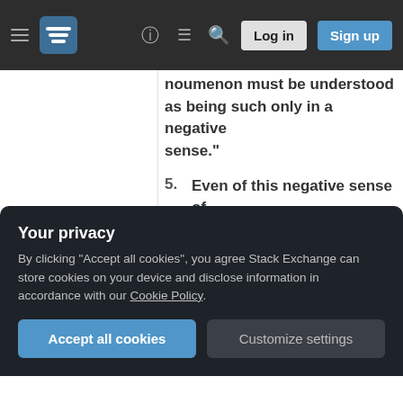Stack Exchange navigation bar with hamburger menu, logo, help, chat, search icons, Log in and Sign up buttons
noumenon must be understood as being such only in a negative sense."
5. Even of this negative sense of noumenon Kant says at A255-B310: "We are unable to comprehend how such noumena can be possible, and the domain that lies out beyond the sphere of appearances is
the same time it is no arbitrary
Your privacy
By clicking "Accept all cookies", you agree Stack Exchange can store cookies on your device and disclose information in accordance with our Cookie Policy.
Accept all cookies   Customize settings